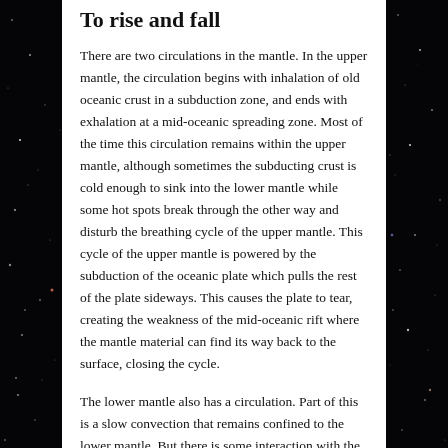To rise and fall
There are two circulations in the mantle. In the upper mantle, the circulation begins with inhalation of old oceanic crust in a subduction zone, and ends with exhalation at a mid-oceanic spreading zone. Most of the time this circulation remains within the upper mantle, although sometimes the subducting crust is cold enough to sink into the lower mantle while some hot spots break through the other way and disturb the breathing cycle of the upper mantle. This cycle of the upper mantle is powered by the subduction of the oceanic plate which pulls the rest of the plate sideways. This causes the plate to tear, creating the weakness of the mid-oceanic rift where the mantle material can find its way back to the surface, closing the cycle.
The lower mantle also has a circulation. Part of this is a slow convection that remains confined to the lower mantle. But there is some interaction with the upper mantle, especially when a cold subducting plate reaches the lower mantle and plummets to the bottom. Convection is driven out from the bottom...